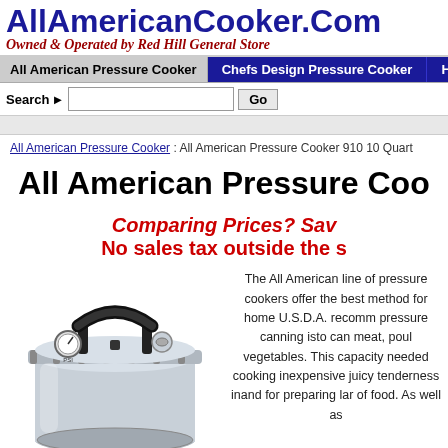AllAmericanCooker.Com
Owned & Operated by Red Hill General Store
All American Pressure Cooker | Chefs Design Pressure Cooker | Home Canning
Search Go
All American Pressure Cooker : All American Pressure Cooker 910 10 Quart
All American Pressure Coo
Comparing Prices? Sav
No sales tax outside the s
[Figure (photo): All American pressure cooker/canner, silver aluminum body with black handle on top, pressure gauge on front left, wing nut valves, locking clamps around the lid edge.]
The All American line of pressure cookers offer the best method for home U.S.D.A. recom pressure canning is to can meat, pou vegetables. This capacity needed cooking inexpensiv juicy tenderness in and for preparing la of food. As well as